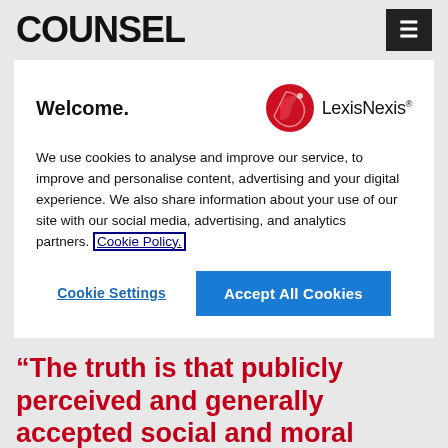COUNSEL
Welcome.
[Figure (logo): LexisNexis logo with red stylized bird/wave icon and LexisNexis wordmark]
We use cookies to analyse and improve our service, to improve and personalise content, advertising and your digital experience. We also share information about your use of our site with our social media, advertising, and analytics partners. Cookie Policy.
Cookie Settings
Accept All Cookies
“The truth is that publicly perceived and generally accepted social and moral standards change, and, within limits, the legislature and